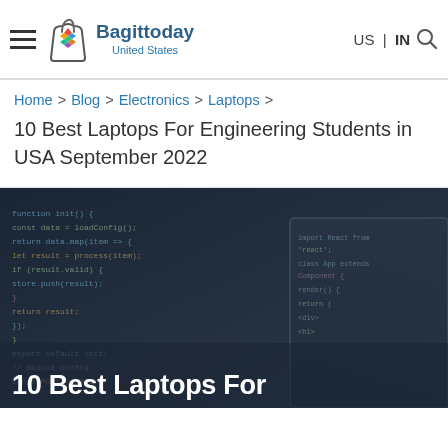Bagittoday United States | US | IN
Home > Blog > Electronics > Laptops >
10 Best Laptops For Engineering Students in USA September 2022
[Figure (photo): Dark themed coding/programming environment on a laptop screen with code editor visible, blurred background]
10 Best Laptops For